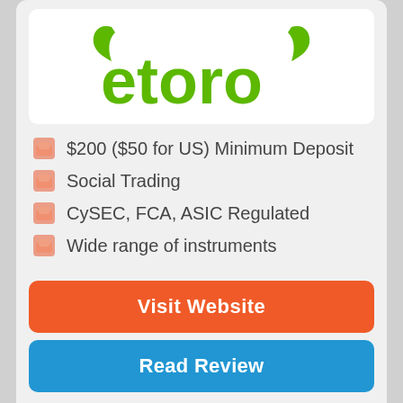[Figure (logo): eToro logo with green bull horns and green text on white background]
$200 ($50 for US) Minimum Deposit
Social Trading
CySEC, FCA, ASIC Regulated
Wide range of instruments
Visit Website
Read Review
CFDs are complex instruments and come with a high risk of losing money rapidly due to leverage. 62% of retail investor accounts lose money when trading CFDs with this provider. You should consider whether you understand how CFDs work, and whether you can afford to take the high risk of losing your money.